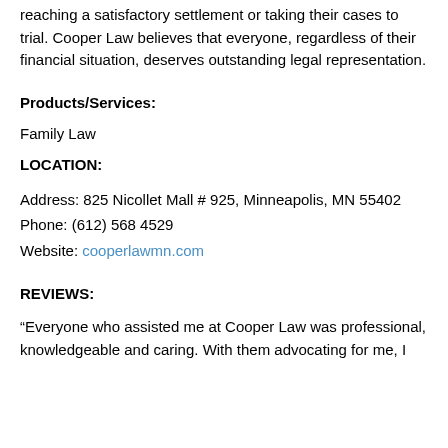reaching a satisfactory settlement or taking their cases to trial. Cooper Law believes that everyone, regardless of their financial situation, deserves outstanding legal representation.
Products/Services:
Family Law
LOCATION:
Address: 825 Nicollet Mall # 925, Minneapolis, MN 55402
Phone: (612) 568 4529
Website: cooperlawmn.com
REVIEWS:
“Everyone who assisted me at Cooper Law was professional, knowledgeable and caring. With them advocating for me, I